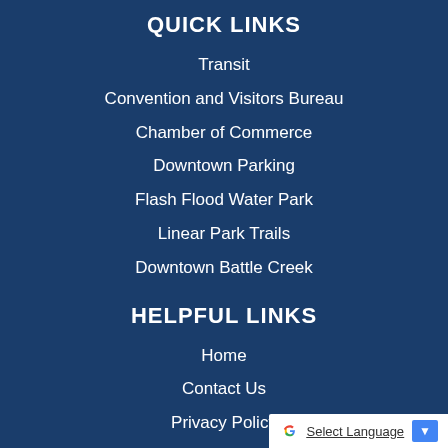QUICK LINKS
Transit
Convention and Visitors Bureau
Chamber of Commerce
Downtown Parking
Flash Flood Water Park
Linear Park Trails
Downtown Battle Creek
HELPFUL LINKS
Home
Contact Us
Privacy Policy
Accessibility